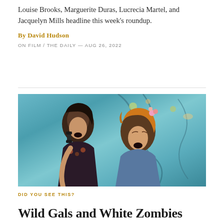Louise Brooks, Marguerite Duras, Lucrecia Martel, and Jacquelyn Mills headline this week's roundup.
By David Hudson
ON FILM / THE DAILY — AUG 26, 2022
[Figure (photo): Two women react with open mouths — one holding a telephone handset — against a colorful painted backdrop with blue swirling patterns and floral elements.]
DID YOU SEE THIS?
Wild Gals and White Zombies